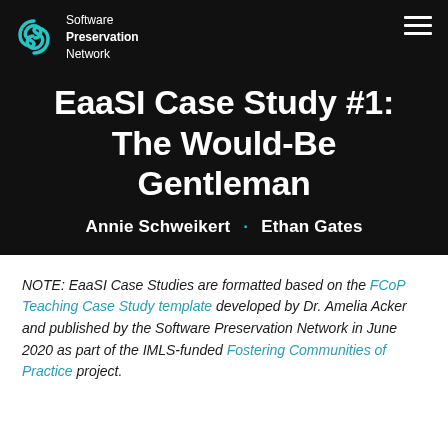[Figure (logo): Software Preservation Network logo with teal circular S icon and white text]
EaaSI Case Study #1: The Would-Be Gentleman
Annie Schweikert · Ethan Gates
NOTE: EaaSI Case Studies are formatted based on the FCoP Teaching Case Study template developed by Dr. Amelia Acker and published by the Software Preservation Network in June 2020 as part of the IMLS-funded Fostering Communities of Practice project.